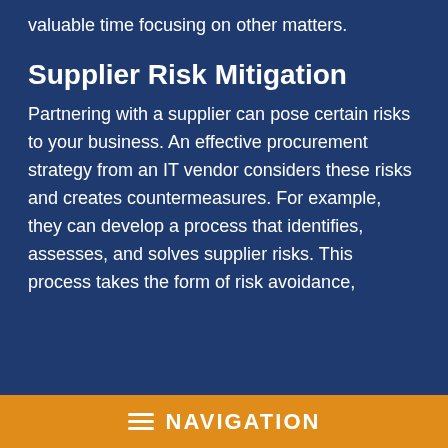valuable time focusing on other matters.
Supplier Risk Mitigation
Partnering with a supplier can pose certain risks to your business. An effective procurement strategy from an IT vendor considers these risks and creates countermeasures. For example, they can develop a process that identifies, assesses, and solves supplier risks. This process takes the form of risk avoidance,
≡ NAVIGATION